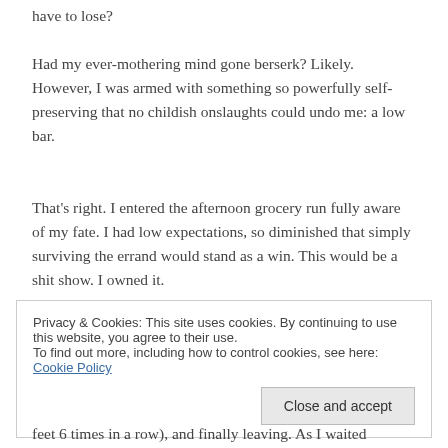have to lose?
Had my ever-mothering mind gone berserk? Likely. However, I was armed with something so powerfully self-preserving that no childish onslaughts could undo me: a low bar.
That's right. I entered the afternoon grocery run fully aware of my fate. I had low expectations, so diminished that simply surviving the errand would stand as a win. This would be a shit show. I owned it.
Privacy & Cookies: This site uses cookies. By continuing to use this website, you agree to their use.
To find out more, including how to control cookies, see here: Cookie Policy
feet 6 times in a row), and finally leaving. As I waited